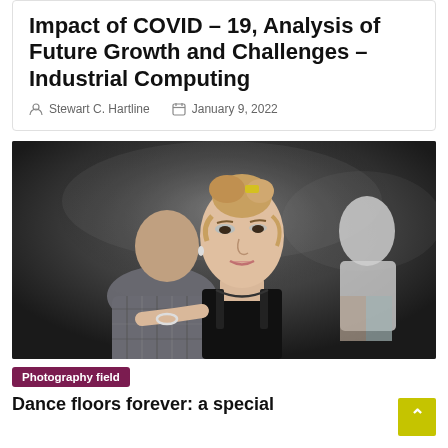Impact of COVID – 19, Analysis of Future Growth and Challenges – Industrial Computing
Stewart C. Hartline   January 9, 2022
[Figure (photo): A young woman with hair up, wearing a black top, hugging or dancing with a man shown from behind wearing a plaid shirt. Other people dancing in the background in a dark venue.]
Photography field
Dance floors forever: a special